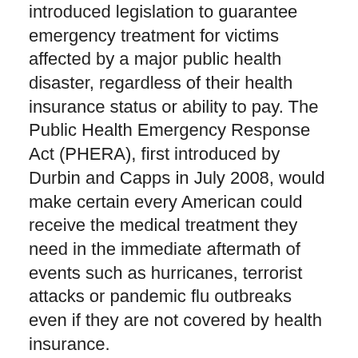...Durbin (D-IL) and Representative Lois Capps (D-CA) introduced legislation to guarantee emergency treatment for victims affected by a major public health disaster, regardless of their health insurance status or ability to pay. The Public Health Emergency Response Act (PHERA), first introduced by Durbin and Capps in July 2008, would make certain every American could receive the medical treatment they need in the immediate aftermath of events such as hurricanes, terrorist attacks or pandemic flu outbreaks even if they are not covered by health insurance.
“The Public Health Emergency Response Act would make it easier for uninsured victims to seek medical care and ensure that health care professionals can be reimbursed for treating them,” said Durbin. “Whether the emergency is a hurricane hitting the Gulf Coast, floodwaters in the Midwest, or an international flu outbreak, those affected should have the assurance that the U.S. government will assist them in their time of need. People who don’t may...